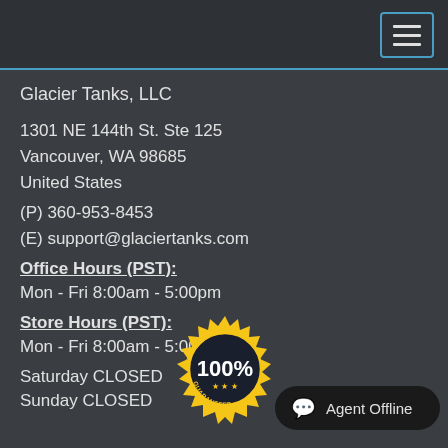Glacier Tanks, LLC
1301 NE 144th St. Ste 125
Vancouver, WA 98685
United States
(P) 360-953-8453
(E) support@glaciertanks.com
Office Hours (PST):
Mon - Fri 8:00am - 5:00pm
Store Hours (PST):
Mon - Fri 8:00am - 5:00pm
Saturday CLOSED
Sunday CLOSED
[Figure (illustration): 100% Satisfaction Guaranteed gold seal badge]
Agent Offline